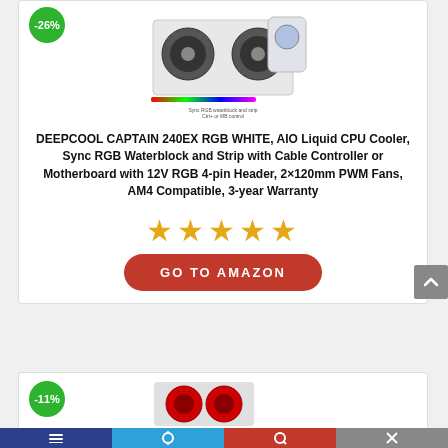[Figure (photo): DEEPCOOL CAPTAIN 240EX RGB WHITE AIO Liquid CPU Cooler product image showing radiator, fans, and pump with RGB lighting]
DEEPCOOL CAPTAIN 240EX RGB WHITE, AIO Liquid CPU Cooler, Sync RGB Waterblock and Strip with Cable Controller or Motherboard with 12V RGB 4-pin Header, 2×120mm PWM Fans, AM4 Compatible, 3-year Warranty
[Figure (other): 5 orange/gold stars rating]
GO TO AMAZON
[Figure (photo): Partial view of second product listing showing -11% badge and beginning of product image]